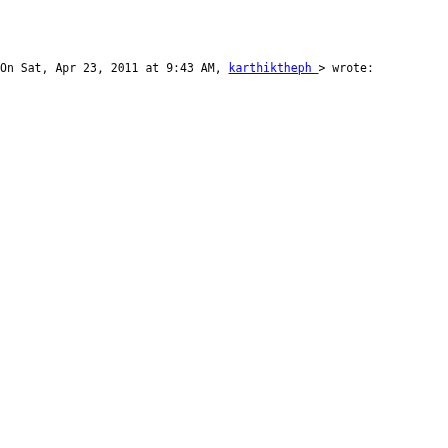</div></span><div style="color:gray;font-size:13.3px;padding-bottom:5px"><br>
<span style="color:blue;text-decoration:underline">
</span></div><span style="color:black"></span><br>
<br><br></div><div><div></div><div>
<div class="gmail_quote">On Sat, Apr 23, 2011 at 9:43 AM,
<a href="mailto:karthikthephoenix@gmail.com" target="_bla
</a>
<a href="mailto:karthikthephoenix@gmail.com" target="_bla
<a href="mailto:karthikthephoenix@gmail.com">karthiktheph
</a>&gt;</span> wrote:<br>